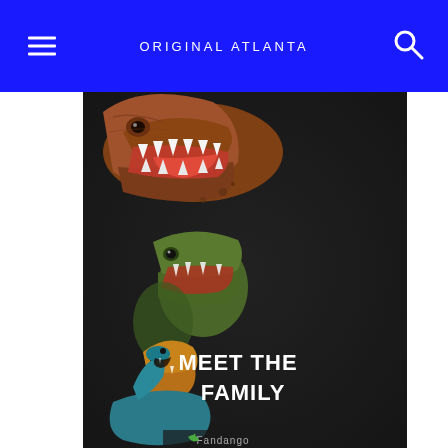ORIGINAL ATLANTA
[Figure (illustration): Tyrannosaurus Rex movie/exhibit poster titled 'Tyrannosaurus Meet The Family' showing multiple dinosaurs including a large T-Rex roaring at top, a smaller T-Rex in the middle, two smaller dinosaurs below, and a tiny dinosaur at the bottom. Text 'MEET THE FAMILY' appears in white, 'TYRANNOSAURS' in yellow-green vertical text on the right side. A logo partially visible at the bottom.]